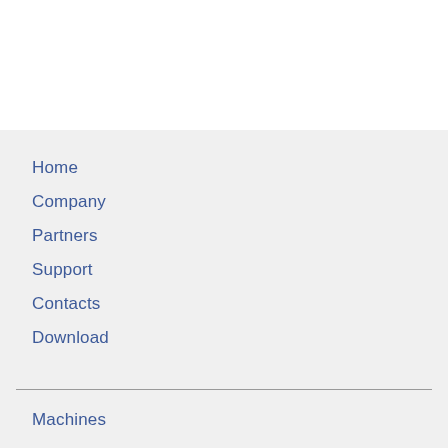Home
Company
Partners
Support
Contacts
Download
Machines